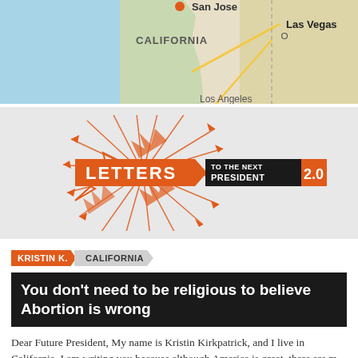[Figure (map): Partial Google map showing California coastline, San Jose, Las Vegas area. Blue ocean on left, beige/green land on right.]
[Figure (logo): Letters to the Next President 2.0 logo — orange starburst of arrows with orange LETTERS text on left, black banner reading TO THE NEXT PRESIDENT, orange 2.0 box on right.]
KRISTIN K.  CALIFORNIA
You don't need to be religious to believe Abortion is wrong
Dear Future President, My name is Kristin Kirkpatrick, and I live in California. I am writing you because although America is great, there are m...